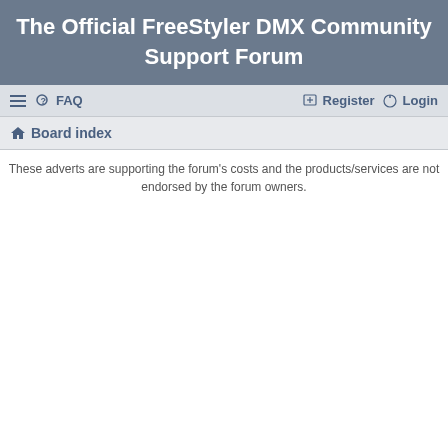The Official FreeStyler DMX Community Support Forum
FAQ  Register  Login
Board index
These adverts are supporting the forum's costs and the products/services are not endorsed by the forum owners.